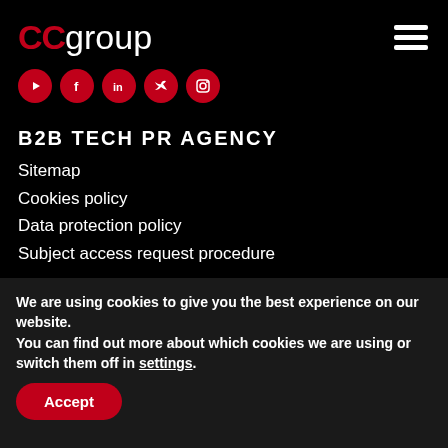[Figure (logo): CCgroup logo with red CC and white group text]
[Figure (illustration): Social media icons: YouTube, Facebook, LinkedIn, Twitter, Instagram — red circular buttons]
B2B TECH PR AGENCY
Sitemap
Cookies policy
Data protection policy
Subject access request procedure
[Figure (logo): CMS badge — gold circular badge with CMS text and envelope icon]
Communications Management Standard (CMS)
USEFUL LINKS
We are using cookies to give you the best experience on our website.
You can find out more about which cookies we are using or switch them off in settings.
Accept